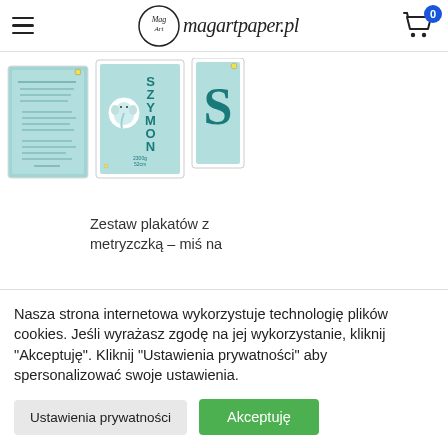magartpaper.pl
[Figure (photo): Three posters displayed: a text poster with Polish poem/prayer, a birth metric card with elephant illustration saying SZYMON with birth details, and a teal poster with large letter S]
Zestaw plakatów z metryzczką – miś na
Nasza strona internetowa wykorzystuje technologię plików cookies. Jeśli wyrażasz zgodę na jej wykorzystanie, kliknij "Akceptuję". Kliknij "Ustawienia prywatności" aby spersonalizować swoje ustawienia.
Ustawienia prywatności
Akceptuję